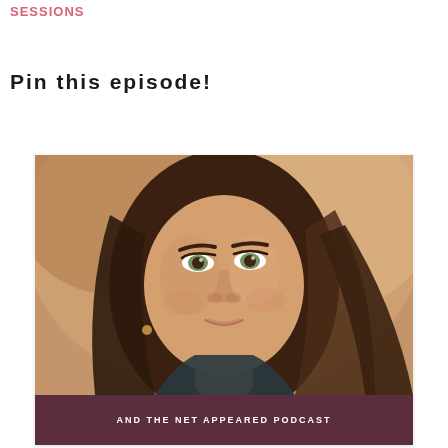Sessions
Pin this episode!
[Figure (photo): Portrait photo of a woman with long dark brown wavy hair, smiling. She has green/hazel eyes and strong eyebrows. Wearing a dark top. Below the photo is a dark maroon/burgundy banner with text 'AND THE NET APPEARED PODCAST'.]